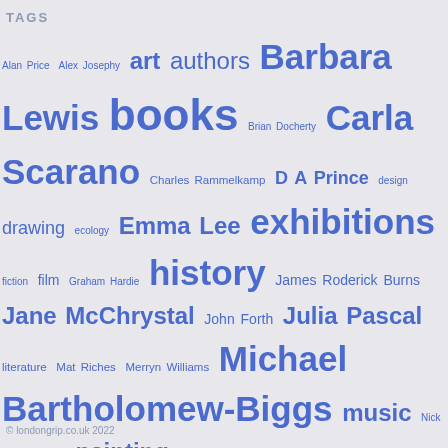TAGS
Alan Price Alex Josephy art authors Barbara Lewis books Brian Docherty Carla Scarano Charles Rammelkamp D A Prince design drawing ecology Emma Lee exhibitions fiction film Graham Hardie history James Roderick Burns Jane McChrystal John Forth Julia Pascal literature Mat Riches Merryn Williams Michael Bartholomew-Biggs music Nick Cooke opera painting Pat Edwards performance photography plays poetry politics Richie McCaffery sculpture society Stuart Henson theatre Thomas Ovans travel Wendy French
© londongrip.co.uk 2022